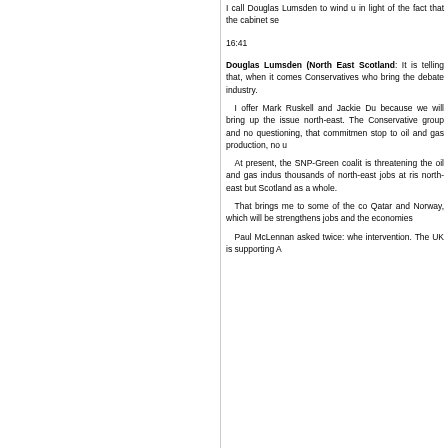I call Douglas Lumsden to wind up in light of the fact that the cabinet se
16:41
Douglas Lumsden (North East Scotland): It is telling that, when it comes Conservatives who bring the debate industry.
I offer Mark Ruskell and Jackie Du because we will bring up the issue north-east. The Conservative group and no questioning, that commitmen stop to oil and gas production, no u
At present, the SNP-Green coalit is threatening the oil and gas indus thousands of north-east jobs at ris north-east but Scotland as a whole.
That brings me to some of the co Qatar and Norway, which will be strengthens jobs and the economies
Paul McLennan asked twice: whe intervention. The UK is supporting A